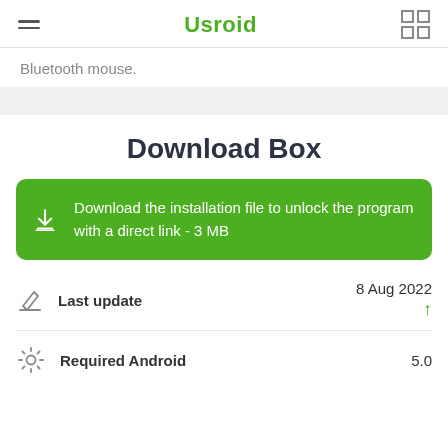Usroid
Bluetooth mouse.
Download Box
Download the installation file to unlock the program with a direct link - 3 MB
|  | Field | Value |
| --- | --- | --- |
|  | Last update | 8 Aug 2022 |
|  | Required Android | 5.0 |